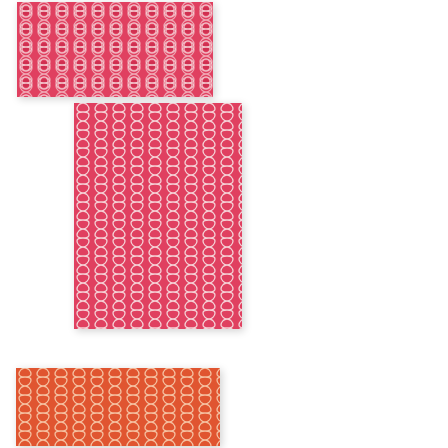[Figure (illustration): Red/pink quatrefoil trellis pattern rug, landscape orientation, shown with white border/shadow]
[Figure (illustration): Red/pink quatrefoil trellis pattern rug, portrait orientation, shown with white border/shadow]
[Figure (illustration): Orange/red quatrefoil trellis pattern rug, landscape orientation, partially visible at bottom, shown with white border/shadow]